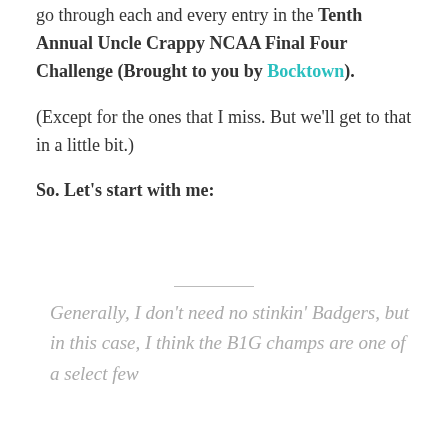go through each and every entry in the Tenth Annual Uncle Crappy NCAA Final Four Challenge (Brought to you by Bocktown).
(Except for the ones that I miss. But we'll get to that in a little bit.)
So. Let's start with me:
Generally, I don't need no stinkin' Badgers, but in this case, I think the B1G champs are one of a select few